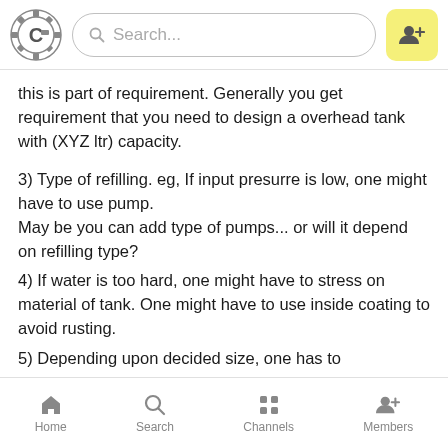Search...
this is part of requirement. Generally you get requirement that you need to design a overhead tank with (XYZ ltr) capacity.
3) Type of refilling. eg, If input presurre is low, one might have to use pump.
May be you can add type of pumps... or will it depend on refilling type?
4) If water is too hard, one might have to stress on material of tank. One might have to use inside coating to avoid rusting.
5) Depending upon decided size, one has to
Home  Search  Channels  Members